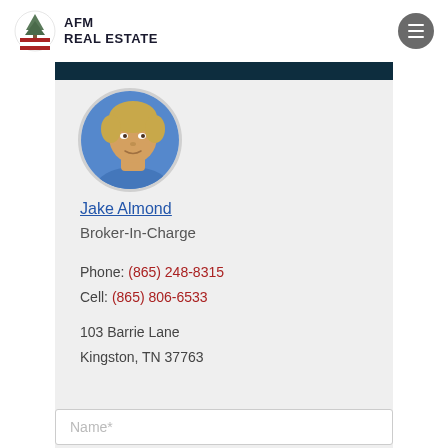AFM REAL ESTATE
[Figure (photo): Circular headshot photo of Jake Almond, a man with blonde hair wearing a blue jacket]
Jake Almond
Broker-In-Charge
Phone: (865) 248-8315
Cell: (865) 806-6533
103 Barrie Lane
Kingston, TN 37763
Name*